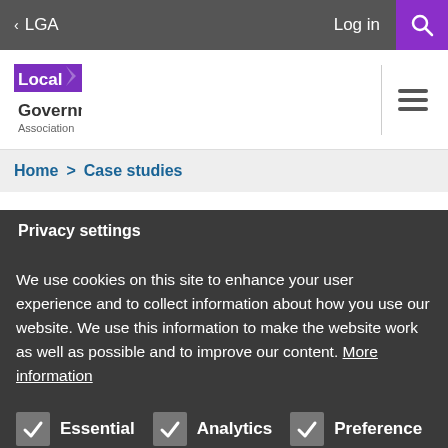< LGA   Log in  [Search]
[Figure (logo): Local Government Association logo with purple background and white text]
Home > Case studies
s in Hammersmith
Privacy settings
We use cookies on this site to enhance your user experience and to collect information about how you use our website. We use this information to make the website work as well as possible and to improve our content. More information
Essential
Analytics
Preference